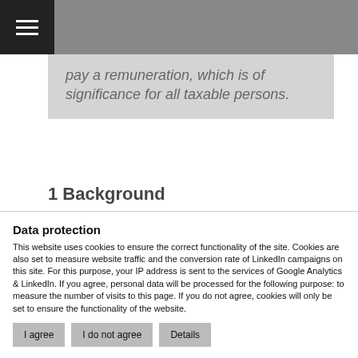☰ [navigation bar]
pay a remuneration, which is of significance for all taxable persons.
1 Background
Spa towns have, to date, received generous treatment from the tax authorities. The collection of spa fees from tourists is [continues]
Data protection
This website uses cookies to ensure the correct functionality of the site. Cookies are also set to measure website traffic and the conversion rate of LinkedIn campaigns on this site. For this purpose, your IP address is sent to the services of Google Analytics & LinkedIn. If you agree, personal data will be processed for the following purpose: to measure the number of visits to this page. If you do not agree, cookies will only be set to ensure the functionality of the website.
I agree
I do not agree
Details